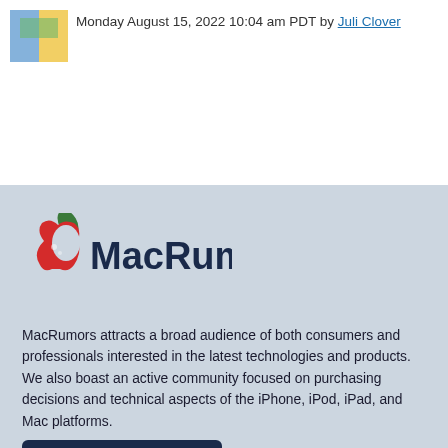Monday August 15, 2022 10:04 am PDT by Juli Clover
[Figure (logo): MacRumors logo with apple icon and bold dark blue MacRumors text]
MacRumors attracts a broad audience of both consumers and professionals interested in the latest technologies and products. We also boast an active community focused on purchasing decisions and technical aspects of the iPhone, iPod, iPad, and Mac platforms.
About MacRumors.com
Advertise on MacRumors